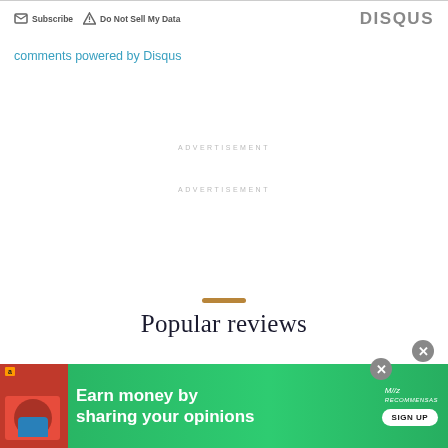Subscribe   Do Not Sell My Data   DISQUS
comments powered by Disqus
ADVERTISEMENT
ADVERTISEMENT
Popular reviews
[Figure (screenshot): Two movie thumbnail images at bottom of page]
[Figure (infographic): Green advertisement banner: 'Earn money by sharing your opinions' with Amazon branding and SIGN UP button]